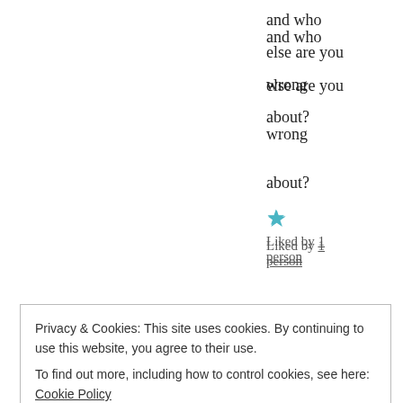and who
else are you
wrong
about?
Liked by 1 person
Anonymous says:
June 11, 2017 at 10:08 am
Lee77. Maybe I have one ounce of self respect left in me. Maybe to share such private and personal information in a social media content is beyond my
Privacy & Cookies: This site uses cookies. By continuing to use this website, you agree to their use.
To find out more, including how to control cookies, see here: Cookie Policy
Close and accept
at the hands of their employees